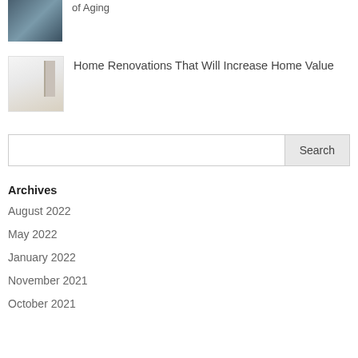[Figure (photo): Partial view of a person, cropped at top of page]
of Aging
[Figure (photo): Interior room photo showing white walls and wooden floor]
Home Renovations That Will Increase Home Value
Search
Archives
August 2022
May 2022
January 2022
November 2021
October 2021